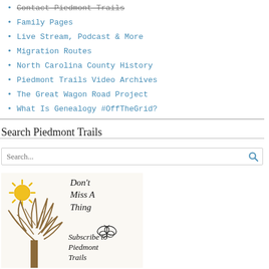Contact Piedmont Trails
Family Pages
Live Stream, Podcast & More
Migration Routes
North Carolina County History
Piedmont Trails Video Archives
The Great Wagon Road Project
What Is Genealogy #OffTheGrid?
Search Piedmont Trails
[Figure (illustration): Promotional banner image with a yellow sun, a bare tree, script text reading 'Don't Miss A Thing', a butterfly graphic, and cursive text reading 'Subscribe to Piedmont Trails']